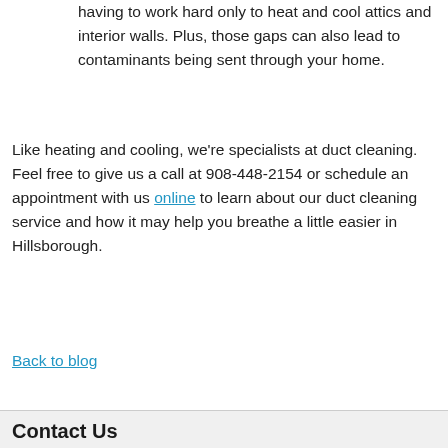having to work hard only to heat and cool attics and interior walls. Plus, those gaps can also lead to contaminants being sent through your home.
Like heating and cooling, we're specialists at duct cleaning. Feel free to give us a call at 908-448-2154 or schedule an appointment with us online to learn about our duct cleaning service and how it may help you breathe a little easier in Hillsborough.
Back to blog
Contact Us